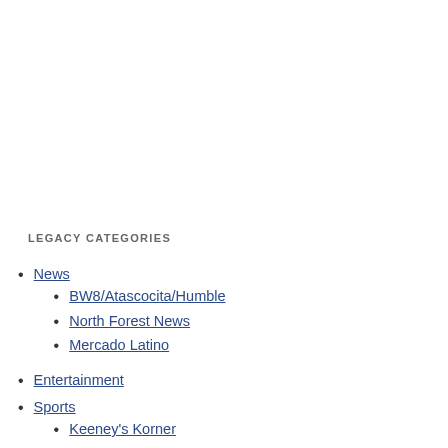LEGACY CATEGORIES
News
BW8/Atascocita/Humble
North Forest News
Mercado Latino
Entertainment
Sports
Keeney's Korner
Community News
School News
Editor's Notebook